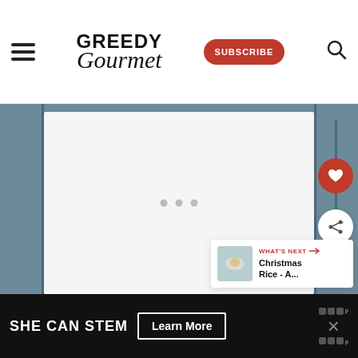Greedy Gourmet — SUBSCRIBE
[Figure (screenshot): Website screenshot of Greedy Gourmet food blog. Header with hamburger menu, Greedy Gourmet logo, red Subscribe button, and search icon. Main area shows a light gray image placeholder with loading dots on a blue-gray background. Right sidebar has a heart (favorite) button and share button. A 'WHAT'S NEXT' card shows Christmas Rice - A... Bottom has a dark ad bar: SHE CAN STEM with a Learn More button and a close X.]